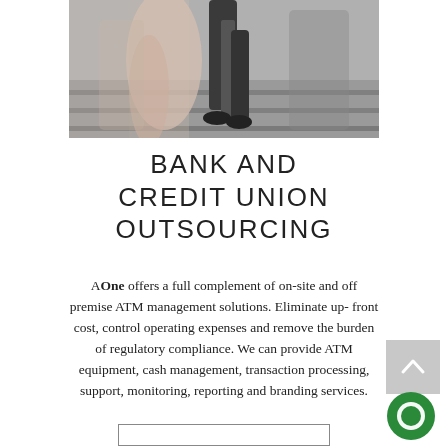[Figure (photo): Blurred photo of people walking, showing legs and motion blur, professional/urban setting]
BANK AND CREDIT UNION OUTSOURCING
AOne offers a full complement of on-site and off premise ATM management solutions. Eliminate up- front cost, control operating expenses and remove the burden of regulatory compliance. We can provide ATM equipment, cash management, transaction processing, support, monitoring, reporting and branding services.